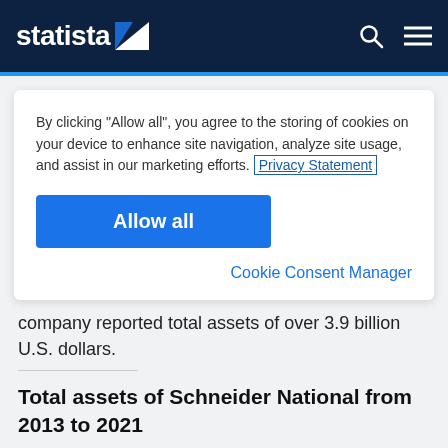statista
By clicking "Allow all", you agree to the storing of cookies on your device to enhance site navigation, analyze site usage, and assist in our marketing efforts. Privacy Statement
Allow all
Cookie Consent Manager
company reported total assets of over 3.9 billion U.S. dollars.
Total assets of Schneider National from 2013 to 2021
(in billion U.S. dollars)